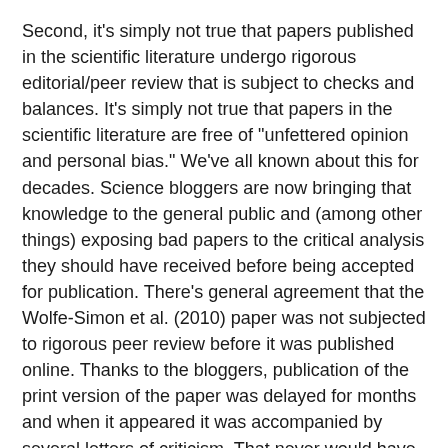Second, it's simply not true that papers published in the scientific literature undergo rigorous editorial/peer review that is subject to checks and balances. It's simply not true that papers in the scientific literature are free of "unfettered opinion and personal bias." We've all known about this for decades. Science bloggers are now bringing that knowledge to the general public and (among other things) exposing bad papers to the critical analysis they should have received before being accepted for publication. There's general agreement that the Wolfe-Simon et al. (2010) paper was not subjected to rigorous peer review before it was published online. Thanks to the bloggers, publication of the print version of the paper was delayed for months and when it appeared it was accompanied by several letters of criticism. That never would have happened without science bloggers.
Science bloggers are providing the checks and balances that have gone missing in the so-called "peer-reviewed" scientific literature. The bloggers are becoming the "peers" that review the papers when the system breaks down.